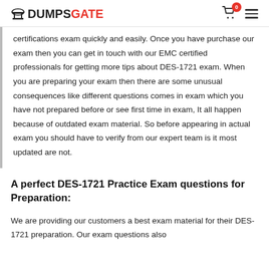DUMPSGATE
certifications exam quickly and easily. Once you have purchase our exam then you can get in touch with our EMC certified professionals for getting more tips about DES-1721 exam. When you are preparing your exam then there are some unusual consequences like different questions comes in exam which you have not prepared before or see first time in exam, It all happen because of outdated exam material. So before appearing in actual exam you should have to verify from our expert team is it most updated are not.
A perfect DES-1721 Practice Exam questions for Preparation:
We are providing our customers a best exam material for their DES-1721 preparation. Our exam questions also